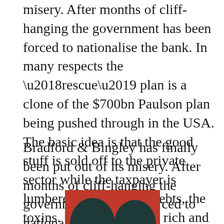misery. After months of cliff-hanging the government has been forced to nationalise the bank. In many respects the ‘rescue’ plan is a clone of the $700bn Paulson plan being pushed through in the USA. The basic idea is that the good stuff is sold off to the private sector while the taxpayer is lumbered with the bad debts, the toxins. Socialism for the rich and the rigours of free enterprise for the rest of us!
Bradford & Bingley has finally been put out of its misery. After months of cliff-hanging the government has been forced to nationalise the bank.
[Figure (illustration): Two dark silhouette figures (heads/shoulders) against a red background, partially visible at the bottom of the page.]